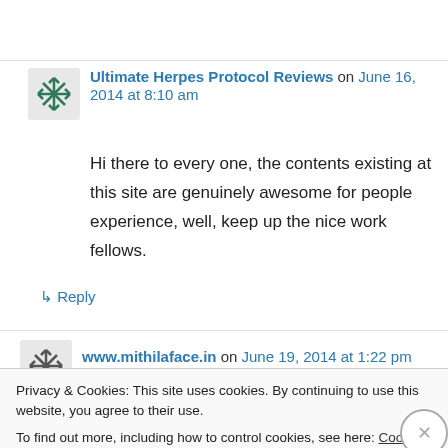Ultimate Herpes Protocol Reviews on June 16, 2014 at 8:10 am
Hi there to every one, the contents existing at this site are genuinely awesome for people experience, well, keep up the nice work fellows.
↳ Reply
www.mithilaface.in on June 19, 2014 at 1:22 pm
Privacy & Cookies: This site uses cookies. By continuing to use this website, you agree to their use. To find out more, including how to control cookies, see here: Cookie Policy
Close and accept